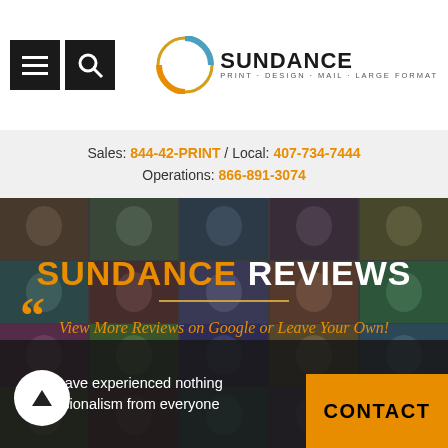[Figure (logo): Sundance Print Design Mail Large Format logo with circular graphic]
Sales: 844-42-PRINT / Local: 407-734-7444
Operations: 866-891-3074
SUNDANCE REVIEWS
View More Reviews on Google or Leave Your Own!
...we have experienced nothing professionalism from everyone